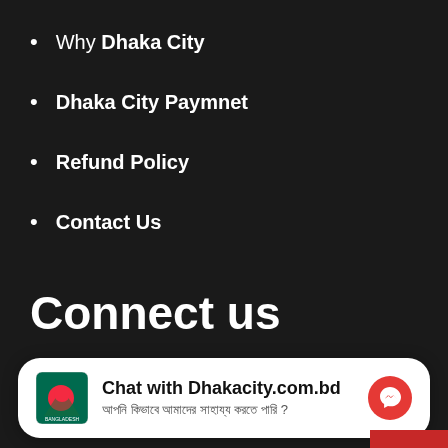Why Dhaka City
Dhaka City Paymnet
Refund Policy
Contact Us
Connect us
Chat with Dhakacity.com.bd
আপনি কিভাবে আমাদের সাহায্য করতে পারি ?